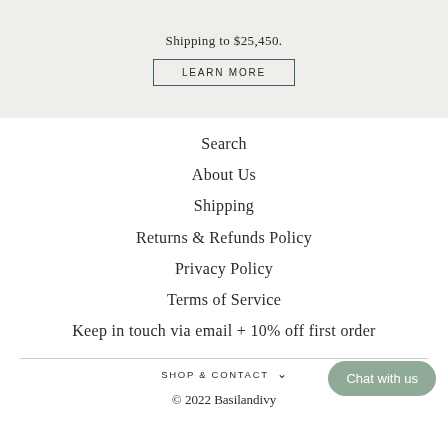Shipping to $25,450.
LEARN MORE
Search
About Us
Shipping
Returns & Refunds Policy
Privacy Policy
Terms of Service
Keep in touch via email + 10% off first order
SHOP & CONTACT
© 2022 Basilandivy